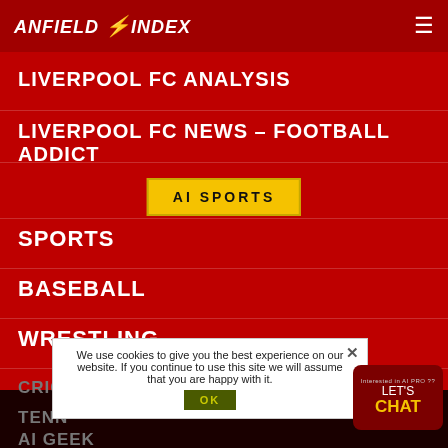ANFIELD INDEX
LIVERPOOL FC ANALYSIS
LIVERPOOL FC NEWS – FOOTBALL ADDICT
[Figure (other): AI SPORTS button in yellow]
SPORTS
BASEBALL
WRESTLING
CRICKET
TENNIS
[Figure (other): AI GEEK button in olive/yellow]
We use cookies to give you the best experience on our website. If you continue to use this site we will assume that you are happy with it.
AI GEEK